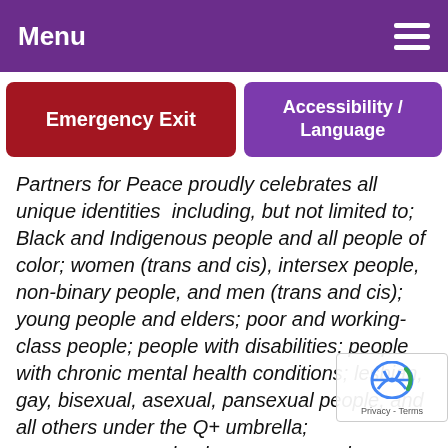Menu
Emergency Exit
Accessibility / Language
Partners for Peace proudly celebrates all unique identities  including, but not limited to; Black and Indigenous people and all people of color; women (trans and cis), intersex people, non-binary people, and men (trans and cis); young people and elders; poor and working-class people; people with disabilities; people with chronic mental health conditions; lesbian, gay, bisexual, asexual, pansexual people, and all others under the Q+ umbrella; monogamous and polyamorous people; immigrants and people with limited or no English proficiency; housed or unhoused people; and people of all